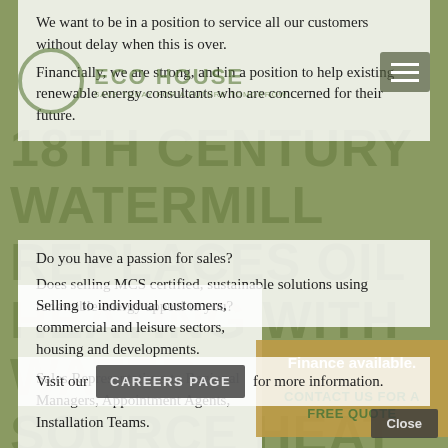We want to be in a position to service all our customers without delay when this is over.
Financially, we are strong, and in a position to help existing renewable energy consultants who are concerned for their future.
18TH CENTURY WATERMILL REPLACES OIL HEATING WITH WATER SOURCE HEAT PUMPS
Do you have a passion for sales?
Does selling MCS certified, sustainable solutions using renewable energy appeal to you?
Selling to individual customers, commercial and leisure sectors, housing and developments.
Finance available.

CONTACT US FOR A FREE QUOTE
Sales Representatives to Regional Managers, Appointment Agents, Installation Teams.
Visit our CAREERS PAGE for more information.